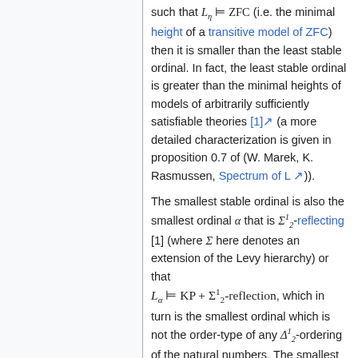such that L_η ⊨ ZFC (i.e. the minimal height of a transitive model of ZFC) then it is smaller than the least stable ordinal. In fact, the least stable ordinal is greater than the minimal heights of models of arbitrarily sufficiently satisfiable theories [1] (a more detailed characterization is given in proposition 0.7 of (W. Marek, K. Rasmussen, Spectrum of L)).
The smallest stable ordinal is also the smallest ordinal α that is Σ¹₂-reflecting [1] (where Σ here denotes an extension of the Levy hierarchy) or that L_α ⊨ KP + Σ¹₂-reflection, which in turn is the smallest ordinal which is not the order-type of any Δ¹₂-ordering of the natural numbers. The smallest stable ordinal σ has the property that any Σ₁(L_σ) subset of ω is ω-finite. [1]